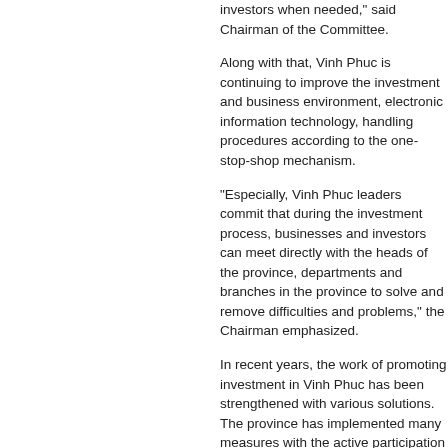investors when needed," said Chairman of the Committee.
Along with that, Vinh Phuc is continuing to improve the investment and business environment, electronic information technology, handling procedures according to the one-stop-shop mechanism.
"Especially, Vinh Phuc leaders commit that during the investment process, businesses and investors can meet directly with the heads of the province, departments and branches in the province to solve and remove difficulties and problems," the Chairman emphasized.
In recent years, the work of promoting investment in Vinh Phuc has been strengthened with various solutions. The province has implemented many measures with the active participation of all levels and sectors to implement this goal.
Accordingly, specialized agencies in the province update information, supplement the database and complete investment promotion documents of the province in Vietnamese, English and Vietnamese-Korean bilingual brochure introducing the general plan of Vinh Phuc province for investors to serve investment promotion activities.
On the other hand, provincial agencies...